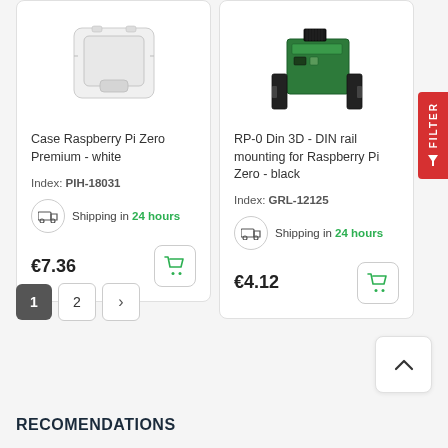[Figure (photo): Product card: white Raspberry Pi Zero premium case - top portion visible]
Case Raspberry Pi Zero Premium - white
Index: PIH-18031
Shipping in 24 hours
€7.36
[Figure (photo): Product card: black DIN rail mounting for Raspberry Pi Zero - top portion visible]
RP-0 Din 3D - DIN rail mounting for Raspberry Pi Zero - black
Index: GRL-12125
Shipping in 24 hours
€4.12
1 2 >
RECOMENDATIONS